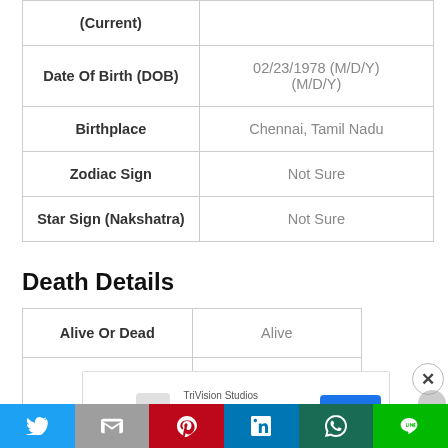| Field | Value |
| --- | --- |
| (Current) |  |
| Date Of Birth (DOB) | 02/23/1978 (M/D/Y)
(M/D/Y) |
| Birthplace | Chennai, Tamil Nadu |
| Zodiac Sign | Not Sure |
| Star Sign (Nakshatra) | Not Sure |
Death Details
| Field | Value |
| --- | --- |
| Alive Or Dead | Alive |
[Figure (screenshot): Advertisement banner for TriVision Studios Video Production Services with an OPEN button]
[Figure (infographic): Social media sharing bar with Twitter, Gmail, Pinterest, LinkedIn, WhatsApp, and Line buttons]